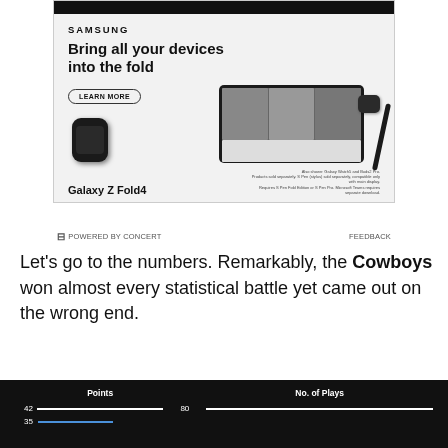[Figure (illustration): Samsung Galaxy Z Fold4 advertisement showing Samsung branding, headline 'Bring all your devices into the fold', a Learn More button, and images of a Galaxy Z Fold4 phone, smartwatch, earbuds, and stylus. Footer shows 'Galaxy Z Fold4' and fine print.]
⊟ POWERED BY CONCERT     FEEDBACK
Let's go to the numbers. Remarkably, the Cowboys won almost every statistical battle yet came out on the wrong end.
| Points | No. of Plays |
| --- | --- |
| 42 | 80 |
| 35 |  |